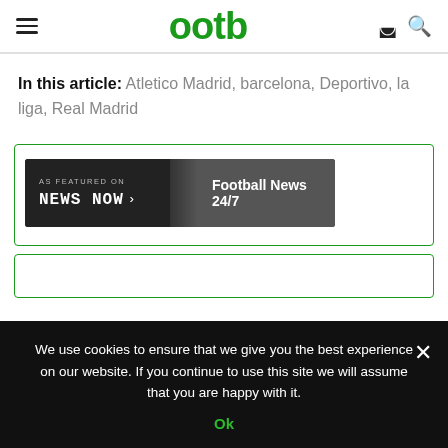ootb
In this article: Atletico Madrid, barcelona, Deportivo, la liga, Real Madrid
[Figure (screenshot): News Now banner: 'AS FEATURED ON NEWS NOW > Football News 24/7' displayed on dark background]
We use cookies to ensure that we give you the best experience on our website. If you continue to use this site we will assume that you are happy with it. Ok